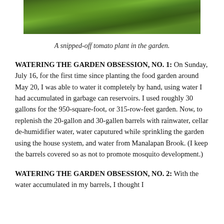[Figure (photo): A close-up photograph of a tomato plant with green leaves in a garden, cropped at the top of the page.]
A snipped-off tomato plant in the garden.
WATERING THE GARDEN OBSESSION, NO. 1: On Sunday, July 16, for the first time since planting the food garden around May 20, I was able to water it completely by hand, using water I had accumulated in garbage can reservoirs. I used roughly 30 gallons for the 950-square-foot, or 315-row-feet garden. Now, to replenish the 20-gallon and 30-gallen barrels with rainwater, cellar de-humidifier water, water caputured while sprinkling the garden using the house system, and water from Manalapan Brook. (I keep the barrels covered so as not to promote mosquito development.)
WATERING THE GARDEN OBSESSION, NO. 2: With the water accumulated in my barrels, I thought I